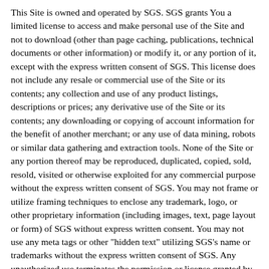This Site is owned and operated by SGS. SGS grants You a limited license to access and make personal use of the Site and not to download (other than page caching, publications, technical documents or other information) or modify it, or any portion of it, except with the express written consent of SGS. This license does not include any resale or commercial use of the Site or its contents; any collection and use of any product listings, descriptions or prices; any derivative use of the Site or its contents; any downloading or copying of account information for the benefit of another merchant; or any use of data mining, robots or similar data gathering and extraction tools. None of the Site or any portion thereof may be reproduced, duplicated, copied, sold, resold, visited or otherwise exploited for any commercial purpose without the express written consent of SGS. You may not frame or utilize framing techniques to enclose any trademark, logo, or other proprietary information (including images, text, page layout or form) of SGS without express written consent. You may not use any meta tags or other "hidden text" utilizing SGS's name or trademarks without the express written consent of SGS. Any unauthorized use terminates the permission or license granted by SGS.
Community Forums
This Site may include bulletin boards, discussion groups and other